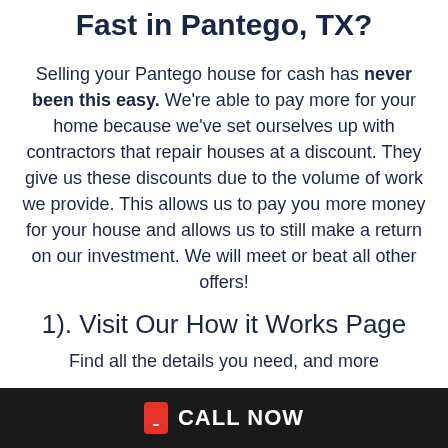Fast in Pantego, TX?
Selling your Pantego house for cash has never been this easy. We're able to pay more for your home because we've set ourselves up with contractors that repair houses at a discount. They give us these discounts due to the volume of work we provide. This allows us to pay you more money for your house and allows us to still make a return on our investment. We will meet or beat all other offers!
1). Visit Our How it Works Page
Find all the details you need, and more
CALL NOW